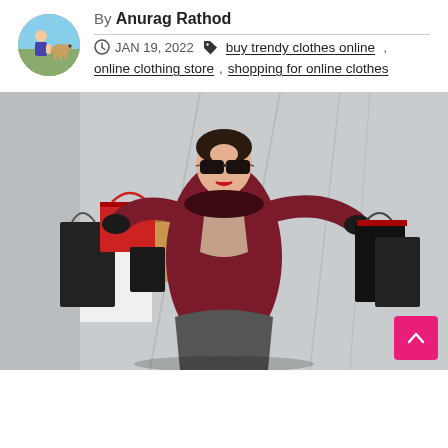By Anurag Rathod
JAN 19, 2022
buy trendy clothes online, online clothing store, shopping for online clothes
[Figure (photo): A fashionable woman wearing sunglasses and a dark red coat, holding multiple shopping bags in both hands, standing outdoors against a light architectural background.]